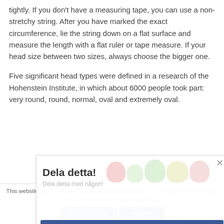tightly. If you don't have a measuring tape, you can use a non-stretchy string. After you have marked the exact circumference, lie the string down on a flat surface and measure the length with a flat ruler or tape measure. If your head size between two sizes, always choose the bigger one.
Five significant head types were defined in a research of the Hohenstein Institute, in which about 6000 people took part: very round, round, normal, oval and extremely oval.
[Figure (screenshot): Social share overlay popup titled 'Dela detta!' (Share this!) with subtitle 'Dela detta med någon!' and five colored head shape icons (pink, light green, light green, yellow, pink) and a close X button. Below is a Facebook share button.]
This website uses cookies to improve your experience. We'll assume you're ok with this, but you can opt-out if you wish.